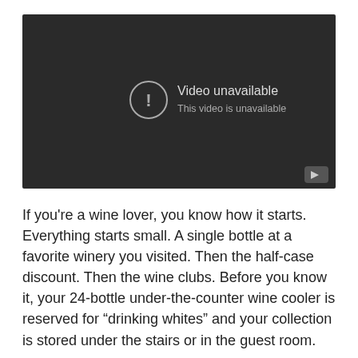[Figure (screenshot): Video player showing 'Video unavailable' message on dark background with YouTube logo button in bottom right corner]
If you're a wine lover, you know how it starts. Everything starts small. A single bottle at a favorite winery you visited. Then the half-case discount. Then the wine clubs. Before you know it, your 24-bottle under-the-counter wine cooler is reserved for “drinking whites” and your collection is stored under the stairs or in the guest room.